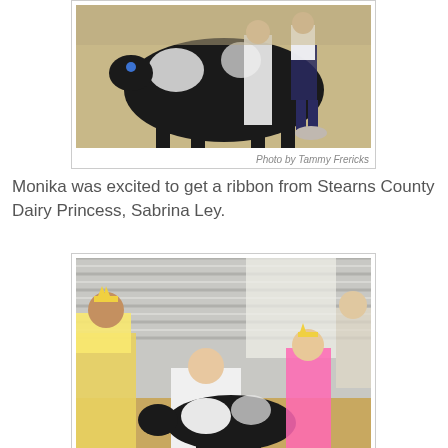[Figure (photo): Photo of a black and white dairy cow being led by two people wearing white and dark pants in what appears to be a show barn or fairground.]
Photo by Tammy Frericks
Monika was excited to get a ribbon from Stearns County Dairy Princess, Sabrina Ley.
[Figure (photo): Photo of people inside a barn with corrugated metal walls, a person wearing a tiara and colorful dress, a girl in white leaning over a black and white calf, and a girl in pink, with other people in the background.]